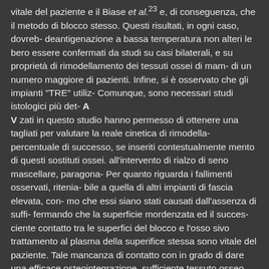vitale del paziente e il Biase et al.23 e, di conseguenza, che il metodo di blocco stesso. Questi risultati, in ogni caso, dovreb- deantigenazione a bassa temperatura non alteri le bero essere confermati da studi su casi bilaterali, e su proprietà di rimodellamento dei tessuti ossei di mam- di un numero maggiore di pazienti. Infine, si è osservato che gli impianti "TRE" utiliz- Comunque, sono necessari studi istologici più det- A
V zati in questo studio hanno permesso di ottenere una tagliati per valutare la reale cinetica di rimodella- percentuale di successo, se inseriti contestualmente mento di questi sostituti ossei. all'intervento di rialzo di seno mascellare, paragona- Per quanto riguarda i fallimenti osservati, ritenia- bile a quella di altri impianti di fascia elevata, con- mo che essi siano stati causati dall'assenza di suffi- fermando che la superficie mordenzata ed il succes- ciente contatto tra le superfici del blocco e l'osso sivo trattamento al plasma della superifice stessa sono vitale del paziente. Tale mancanza di contatto con in grado di dare una efficace osteointegrazione. sufficiente tessuto osseo endogeno vitale potrebbe In conclusione, l'impiego dei sostituti ossei etero- avere impedito